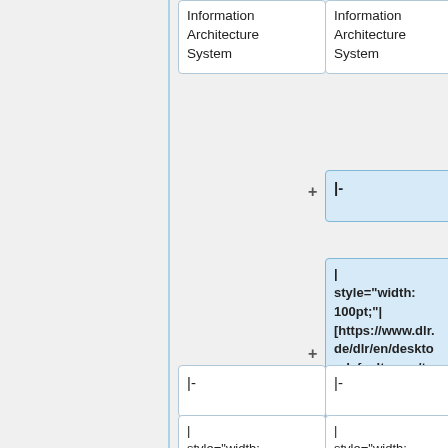[Figure (flowchart): Flowchart/tree diagram showing wiki markup nodes. Two top boxes labeled 'Information Architecture System', then a highlighted collapsed/expanded node with '|-' and a detailed highlighted node showing wiki table markup including style attributes and a DLR link, followed by two more '|-' nodes and partial '|' nodes at the bottom.]